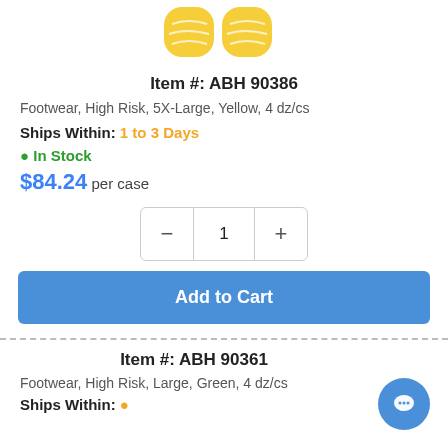[Figure (photo): Yellow high-risk non-slip slipper socks on feet, shown from above]
Item #: ABH 90386
Footwear, High Risk, 5X-Large, Yellow, 4 dz/cs
Ships Within: 1 to 3 Days
• In Stock
$84.24 per case
[Figure (other): Quantity selector with minus button, quantity 1, and plus button]
Add to Cart
Item #: ABH 90361
Footwear, High Risk, Large, Green, 4 dz/cs
Ships Within: